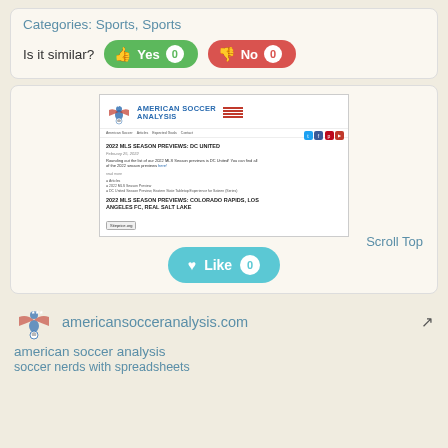Categories: Sports, Sports
Is it similar?
[Figure (screenshot): Screenshot of americansocceranalysis.com showing the site header with eagle logo and 'AMERICAN SOCCER ANALYSIS' text with red stripes, navigation links, social media buttons (Twitter, Facebook, Pinterest, YouTube), and two article titles: '2022 MLS SEASON PREVIEWS: DC UNITED' dated February 25, 2022, and '2022 MLS SEASON PREVIEWS: COLORADO RAPIDS, LOS ANGELES FC, REAL SALT LAKE', with a Siteprice.org badge in the corner.]
Scroll Top
Like 0
americansocceranalysis.com
american soccer analysis
soccer nerds with spreadsheets